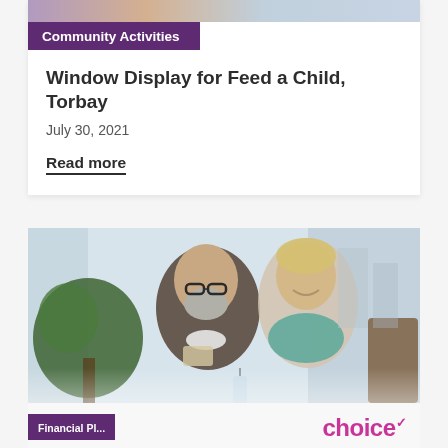[Figure (photo): Colorful top image strip, partially visible at the top of the card]
Community Activities
Window Display for Feed a Child, Torbay
July 30, 2021
Read more
[Figure (photo): Two elderly people, a man with glasses and grey beard and a woman with short blonde hair, smiling at each other in a bright room with a plant in the background]
Financial Pl...
choice